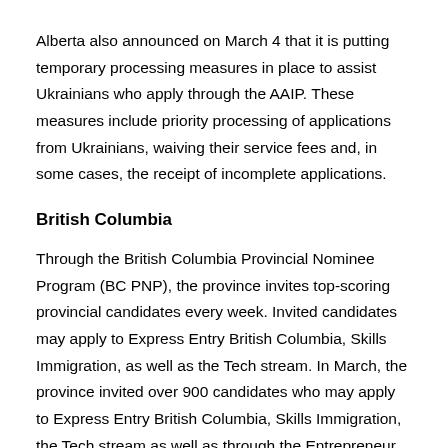Alberta also announced on March 4 that it is putting temporary processing measures in place to assist Ukrainians who apply through the AAIP. These measures include priority processing of applications from Ukrainians, waiving their service fees and, in some cases, the receipt of incomplete applications.
British Columbia
Through the British Columbia Provincial Nominee Program (BC PNP), the province invites top-scoring provincial candidates every week. Invited candidates may apply to Express Entry British Columbia, Skills Immigration, as well as the Tech stream. In March, the province invited over 900 candidates who may apply to Express Entry British Columbia, Skills Immigration, the Tech stream as well as through the Entrepreneur Immigration – Regional Pilot